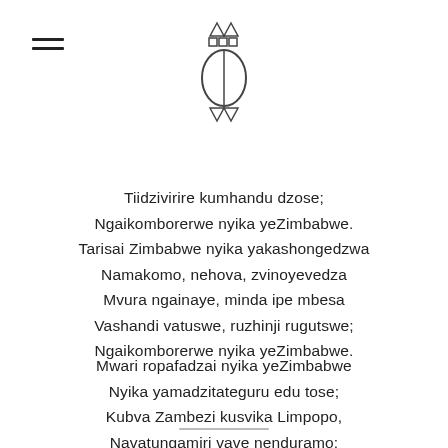[Figure (logo): Zimbabwe national emblem/crest with triangles, squares and oval shield shape]
Tiidzivirire kumhandu dzose;
Ngaikomborerwe nyika yeZimbabwe.
Tarisai Zimbabwe nyika yakashongedzwa
Namakomo, nehova, zvinoyevedza
Mvura ngainaye, minda ipe mbesa
Vashandi vatuswe, ruzhinji rugutswe;
Ngaikomborerwe nyika yeZimbabwe.
Mwari ropafadzai nyika yeZimbabwe
Nyika yamadzitateguru edu tose;
Kubva Zambezi kusvika Limpopo,
Navatungamiri vave nenduramo;
Ngaikomborerwe nyika yeZimbabwe.
—